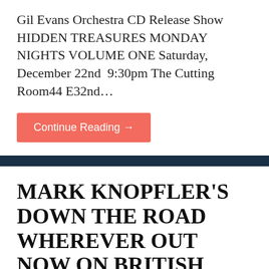Gil Evans Orchestra CD Release Show HIDDEN TREASURES MONDAY NIGHTS VOLUME ONE Saturday, December 22nd  9:30pm The Cutting Room44 E32nd…
Continue Reading →
MARK KNOPFLER'S DOWN THE ROAD WHEREVER OUT NOW ON BRITISH GROVE RECORDS VIA BLUE NOTE NORTH AMERICAN TOUR SET FOR SUMMER 2019